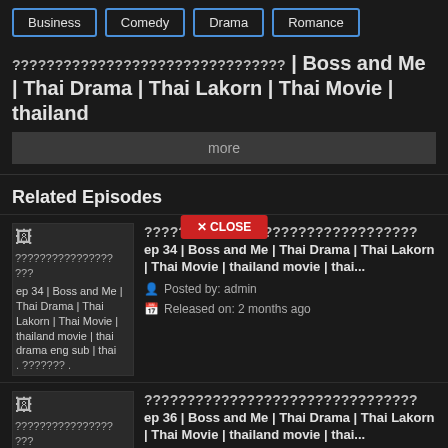Business | Comedy | Drama | Romance
?????????????????? | Boss and Me | Thai Drama | Thai Lakorn | Thai Movie | thailand ... more
Related Episodes
?????????????????? ep 34 | Boss and Me | Thai Drama | Thai Lakorn | Thai Movie | thailand movie | thai drama eng sub | thai ...
?????????????????? ep 34 | Boss and Me | Thai Drama | Thai Lakorn | Thai Movie | thailand movie | thai... | Posted by: admin | Released on: 2 months ago
?????????????????? ep 36 | Boss and Me | Thai Drama | Thai Lakorn | Thai Movie | thailand movie | thai drama eng sub | thai ...
?????????????????? ep 36 | Boss and Me | Thai Drama | Thai Lakorn | Thai Movie | thailand movie | thai... | Posted by: admin